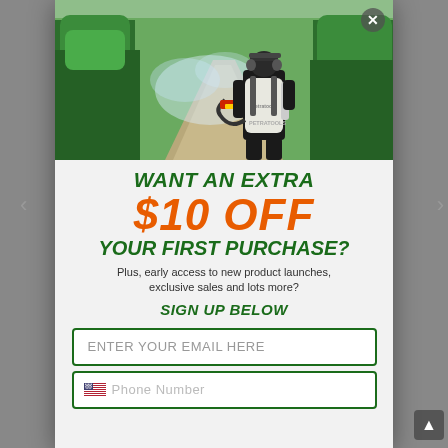[Figure (photo): Person wearing a backpack sprayer (Petra Tools branded) in a greenhouse with green plants, spraying mist down the row. The scene shows a long greenhouse corridor with tomato plants.]
WANT AN EXTRA $10 OFF YOUR FIRST PURCHASE?
Plus, early access to new product launches, exclusive sales and lots more?
SIGN UP BELOW
ENTER YOUR EMAIL HERE
Phone Number